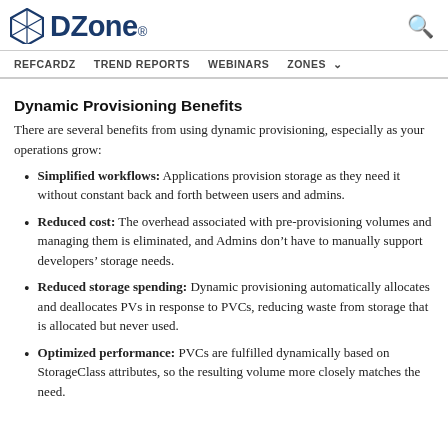DZone. [logo with search icon]
REFCARDZ  TREND REPORTS  WEBINARS  ZONES
Dynamic Provisioning Benefits
There are several benefits from using dynamic provisioning, especially as your operations grow:
Simplified workflows: Applications provision storage as they need it without constant back and forth between users and admins.
Reduced cost: The overhead associated with pre-provisioning volumes and managing them is eliminated, and Admins don’t have to manually support developers’ storage needs.
Reduced storage spending: Dynamic provisioning automatically allocates and deallocates PVs in response to PVCs, reducing waste from storage that is allocated but never used.
Optimized performance: PVCs are fulfilled dynamically based on StorageClass attributes, so the resulting volume more closely matches the need.